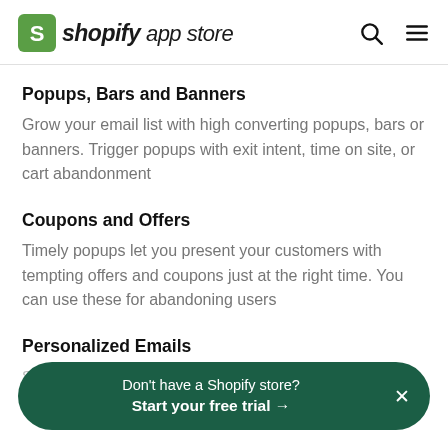shopify app store
Popups, Bars and Banners
Grow your email list with high converting popups, bars or banners. Trigger popups with exit intent, time on site, or cart abandonment
Coupons and Offers
Timely popups let you present your customers with tempting offers and coupons just at the right time. You can use these for abandoning users
Personalized Emails
Don't have a Shopify store? Start your free trial →